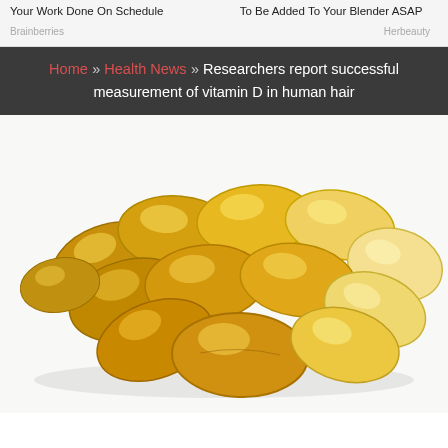Your Work Done On Schedule
Brainberries
To Be Added To Your Blender ASAP
Herbeauty
Home » Health News » Researchers report successful measurement of vitamin D in human hair
[Figure (photo): A pile of golden/yellow vitamin D gel capsules (softgels) on a white background]